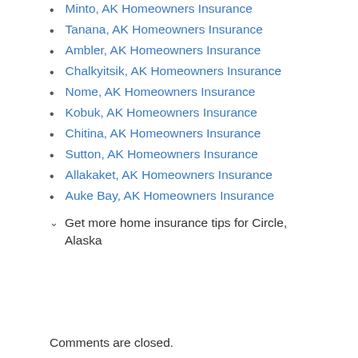Minto, AK Homeowners Insurance
Tanana, AK Homeowners Insurance
Ambler, AK Homeowners Insurance
Chalkyitsik, AK Homeowners Insurance
Nome, AK Homeowners Insurance
Kobuk, AK Homeowners Insurance
Chitina, AK Homeowners Insurance
Sutton, AK Homeowners Insurance
Allakaket, AK Homeowners Insurance
Auke Bay, AK Homeowners Insurance
Get more home insurance tips for Circle, Alaska
Comments are closed.